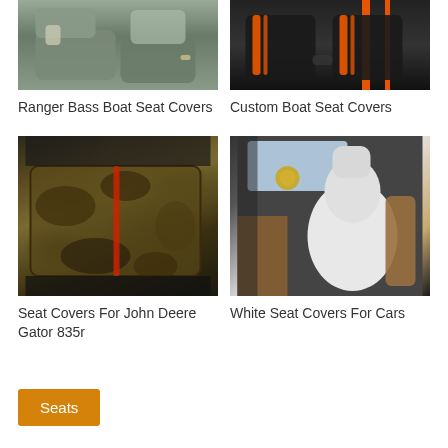[Figure (photo): Photo of a gray leather boat seat interior, Ranger bass boat style]
[Figure (photo): Photo of custom black and orange boat seats]
Ranger Bass Boat Seat Covers
Custom Boat Seat Covers
[Figure (photo): Photo of camouflage seat covers installed in a vehicle, John Deere Gator 835r]
[Figure (photo): Photo of white seat cover for a car interior]
Seat Covers For John Deere Gator 835r
White Seat Covers For Cars
Seats